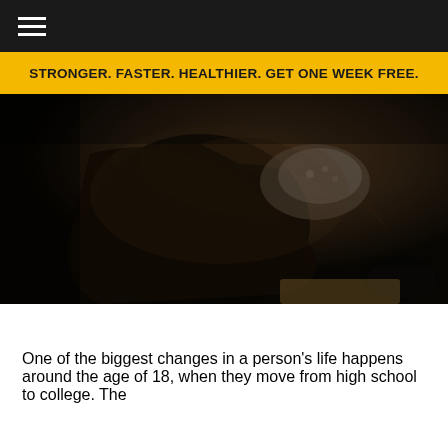≡
STRONGER. FASTER. HEALTHIER. GET ONE WEEK FREE.
[Figure (photo): A person working out, leaning forward in athletic wear, photographed from above in dark, moody lighting.]
One of the biggest changes in a person's life happens around the age of 18, when they move from high school to college. The